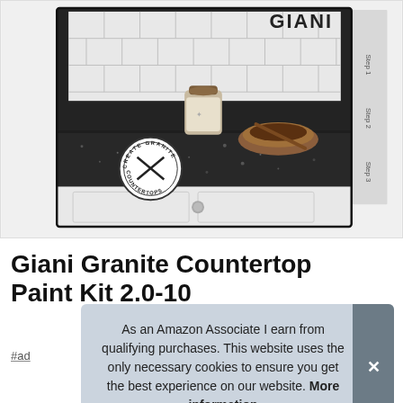[Figure (photo): Product box photo of Giani Granite Countertop Paint Kit showing a dark granite-look countertop with white subway tile backsplash, a jar and wooden bowl on the counter, and the Giani Create Granite Countertops circular logo on the box]
Giani Granite Countertop Paint Kit 2.0-10
#ad
As an Amazon Associate I earn from qualifying purchases. This website uses the only necessary cookies to ensure you get the best experience on our website. More information